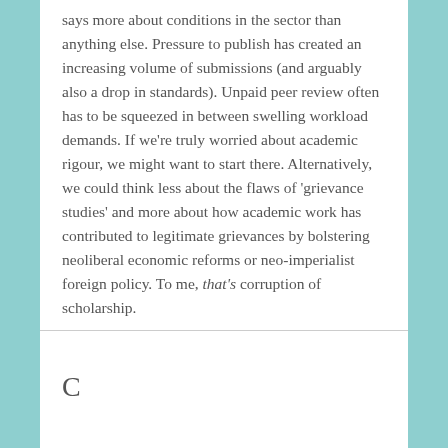says more about conditions in the sector than anything else. Pressure to publish has created an increasing volume of submissions (and arguably also a drop in standards). Unpaid peer review often has to be squeezed in between swelling workload demands. If we're truly worried about academic rigour, we might want to start there. Alternatively, we could think less about the flaws of 'grievance studies' and more about how academic work has contributed to legitimate grievances by bolstering neoliberal economic reforms or neo-imperialist foreign policy. To me, that's corruption of scholarship.